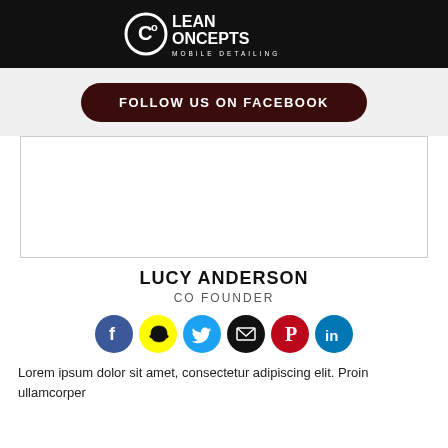[Figure (logo): Clean Concepts Mobile Detailing logo — white text on black background]
FOLLOW US ON FACEBOOK
[Figure (photo): Empty white image placeholder box]
LUCY ANDERSON
CO FOUNDER
[Figure (infographic): Row of 6 social media icons: Facebook (blue), Snapchat (yellow), Twitter (blue), Email (black), Pinterest (red), LinkedIn (blue)]
Lorem ipsum dolor sit amet, consectetur adipiscing elit. Proin ullamcorper